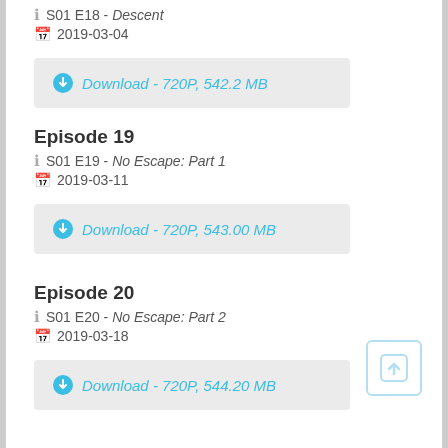S01 E18 - Descent
2019-03-04
Download - 720P, 542.2 MB
Episode 19
S01 E19 - No Escape: Part 1
2019-03-11
Download - 720P, 543.00 MB
Episode 20
S01 E20 - No Escape: Part 2
2019-03-18
Download - 720P, 544.20 MB